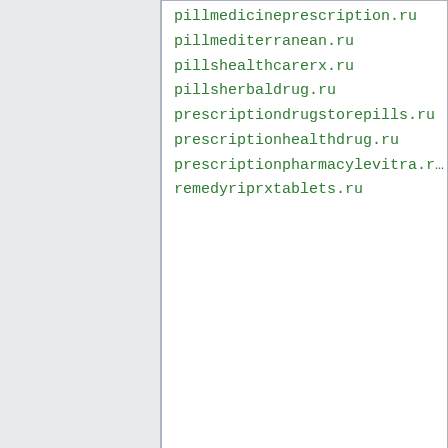pillmedicineprescription.ru
pillmediterranean.ru
pillshealthcarerx.ru
pillsherbaldrug.ru
prescriptiondrugstorepills.ru
prescriptionhealthdrug.ru
prescriptionpharmacylevitra.ru
remedyriprxtablets.ru
Top
Red Dwarf
You are kiillllling-a my bizinisss!
Joined: Tue Jun 27, 2006 2:01 am
Posted: Sun Jun 22, 2014 12:15 am
IP address 31.193.132.18

List of detected fraud domains
https://www.virustotal.com/en/ip-address/31.193.132.18/information/